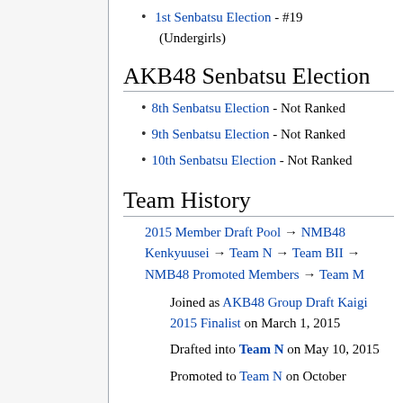1st Senbatsu Election - #19 (Undergirls)
AKB48 Senbatsu Election
8th Senbatsu Election - Not Ranked
9th Senbatsu Election - Not Ranked
10th Senbatsu Election - Not Ranked
Team History
2015 Member Draft Pool → NMB48 Kenkyuusei → Team N → Team BII → NMB48 Promoted Members → Team M
Joined as AKB48 Group Draft Kaigi 2015 Finalist on March 1, 2015
Drafted into Team N on May 10, 2015
Promoted to Team N on October